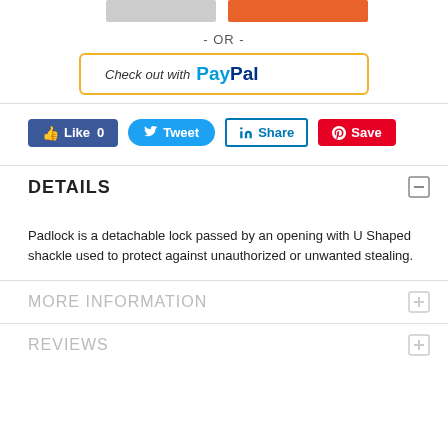[Figure (screenshot): Top partial view showing two buttons (gray and orange) clipped at the top edge]
- OR -
[Figure (screenshot): PayPal checkout button with yellow border, 'Check out with PayPal' text]
[Figure (infographic): Social sharing buttons: Like 0 (Facebook), Tweet (Twitter), Share (LinkedIn), Save (Pinterest)]
DETAILS
Padlock is a detachable lock passed by an opening with U Shaped shackle used to protect against unauthorized or unwanted stealing.
MORE INFORMATION
REVIEWS